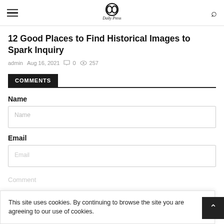Daily Press
12 Good Places to Find Historical Images to Spark Inquiry
admin  Aug 16, 2021  0  257
COMMENTS
Name
Email
This site uses cookies. By continuing to browse the site you are agreeing to our use of cookies.